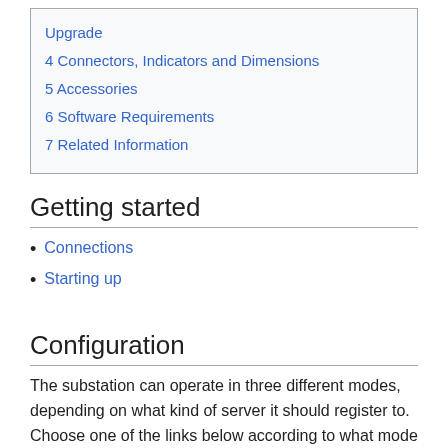Upgrade
4 Connectors, Indicators and Dimensions
5 Accessories
6 Software Requirements
7 Related Information
Getting started
Connections
Starting up
Configuration
The substation can operate in three different modes, depending on what kind of server it should register to. Choose one of the links below according to what mode you need to configure.